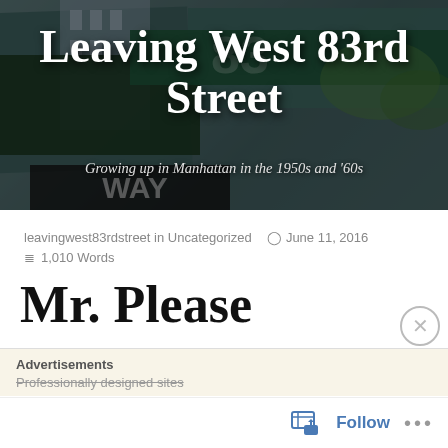[Figure (photo): Street sign photo background for blog 'Leaving West 83rd Street' showing green NYC street sign with '83' visible, dark sign post, city building, and trees]
Leaving West 83rd Street
Growing up in Manhattan in the 1950s and '60s
leavingwest83rdstreet in Uncategorized   June 11, 2016  1,010 Words
Mr. Please
Advertisements
Professionally designed sites
Follow